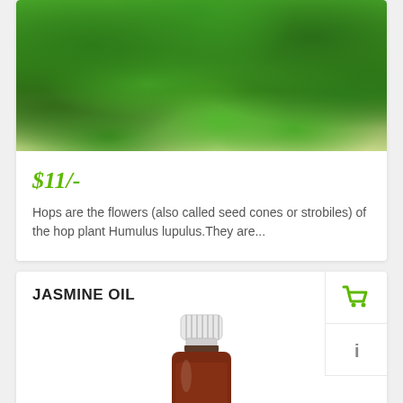[Figure (photo): Green hops plant foliage with hanging seed cones/strobiles]
$11/-
Hops are the flowers (also called seed cones or strobiles) of the hop plant Humulus lupulus.They are...
JASMINE OIL
[Figure (photo): A small brown glass bottle with white ribbed cap containing jasmine oil]
[Figure (other): Green shopping cart icon]
[Figure (other): Info/detail icon]